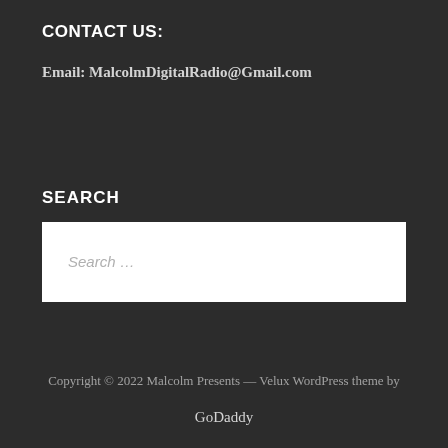CONTACT US:
Email: MalcolmDigitalRadio@Gmail.com
SEARCH
[Figure (other): Search input box with placeholder text 'Search ...']
Copyright © 2022 Malcolm Presents — Velux WordPress theme by GoDaddy